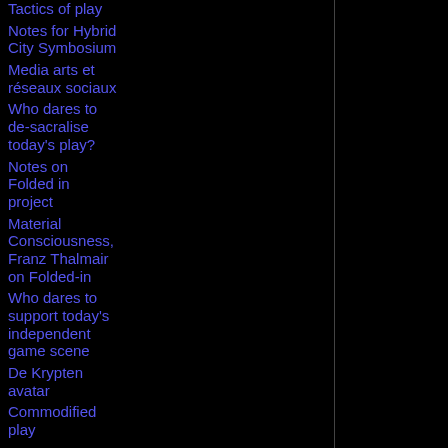Tactics of play
Notes for Hybrid City Symbosium
Media arts et réseaux sociaux
Who dares to de-sacralise today's play?
Notes on Folded in project
Material Consciousness, Franz Thalmair on Folded-in
Who dares to support today's independent game scene
De Krypten avatar
Commodified play